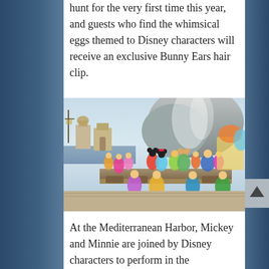hunt for the very first time this year, and guests who find the whimsical eggs themed to Disney characters will receive an exclusive Bunny Ears hair clip.
[Figure (photo): Disney characters and performers in colorful spring costumes dancing on a stage at Mediterranean Harbor, with Mickey and Minnie Mouse in the center, surrounded by dancers in vibrant outfits. Behind them are themed castle/port buildings and a large rocky mountain structure.]
At the Mediterranean Harbor, Mickey and Minnie are joined by Disney characters to perform in the